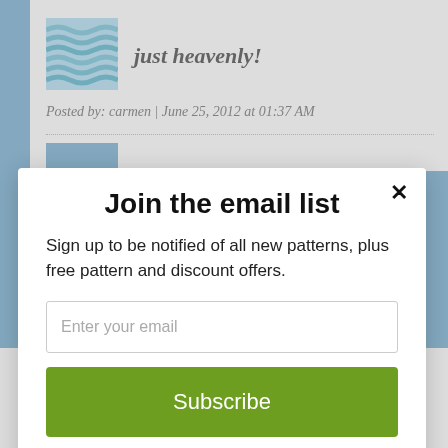[Figure (logo): Wavy blue/teal striped logo image for a blog]
just heavenly!
Posted by: carmen | June 25, 2012 at 01:37 AM
Join the email list
Sign up to be notified of all new patterns, plus free pattern and discount offers.
Enter your email
Subscribe
powered by MailMunch